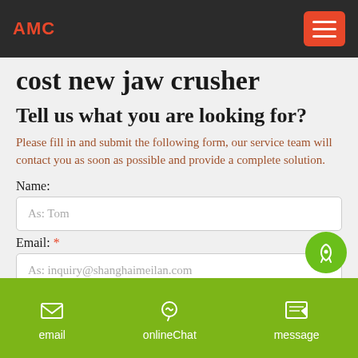AMC
cost new jaw crusher
Tell us what you are looking for?
Please fill in and submit the following form, our service team will contact you as soon as possible and provide a complete solution.
Name:
As: Tom
Email: *
As: inquiry@shanghaimeilan.com
email   onlineChat   message